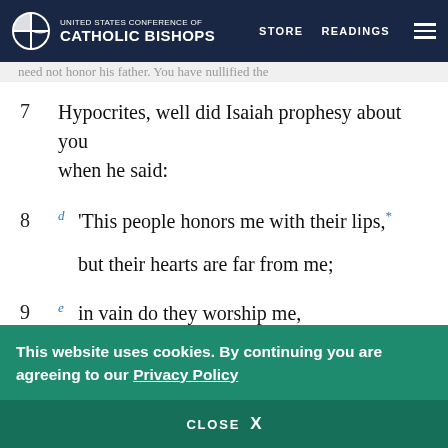United States Conference of Catholic Bishops — STORE  READINGS
need not honor his father. You have nullified the
7  Hypocrites, well did Isaiah prophesy about you when he said:
8  d 'This people honors me with their lips,*
   but their hearts are far from me;
9  e in vain do they worship me,
   teaching as doctrines human precepts.'"
This website uses cookies. By continuing you are agreeing to our Privacy Policy
CLOSE  X